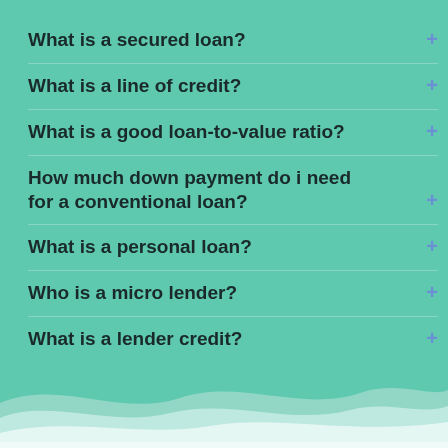What is a secured loan? +
What is a line of credit? +
What is a good loan-to-value ratio? +
How much down payment do i need for a conventional loan? +
What is a personal loan? +
Who is a micro lender? +
What is a lender credit? +
[Figure (illustration): Wave decoration at the bottom of the page in lighter teal/white tones]